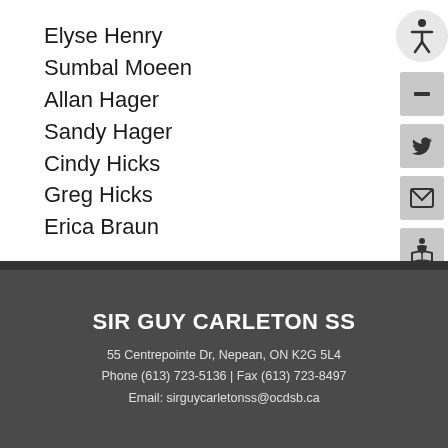Elyse Henry
Sumbal Moeen
Allan Hager
Sandy Hager
Cindy Hicks
Greg Hicks
Erica Braun
[Figure (infographic): Accessibility icon (person figure) in a light grey circle, plus four square icon buttons: minus/zoom-out, Twitter bird, envelope/email, and an open book/person icon — all on the right sidebar of the page]
SIR GUY CARLETON SS
55 Centrepointe Dr, Nepean, ON K2G 5L4
Phone (613) 723-5136 | Fax (613) 723-8497
Email: sirguycarletonss@ocdsb.ca